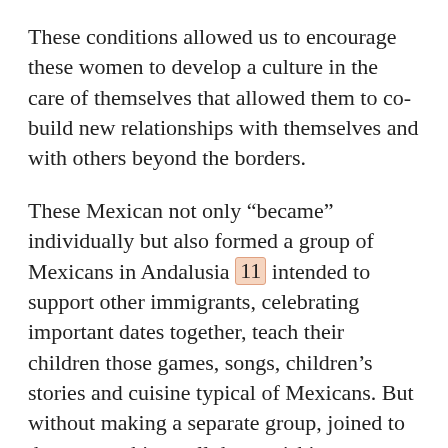These conditions allowed us to encourage these women to develop a culture in the care of themselves that allowed them to co-build new relationships with themselves and with others beyond the borders.
These Mexican not only “became” individually but also formed a group of Mexicans in Andalusia [11] intended to support other immigrants, celebrating important dates together, teach their children those games, songs, children’s stories and cuisine typical of Mexicans. But without making a separate group, joined to the partnership to all those wishing to